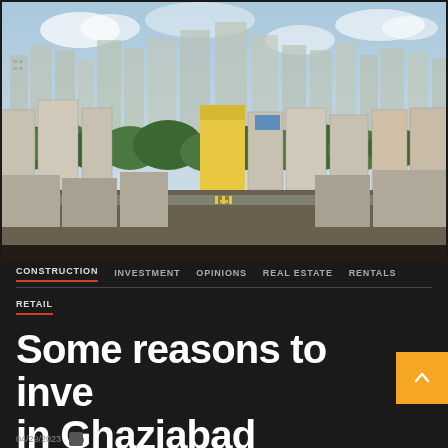[Figure (photo): Aerial view of Ghaziabad cityscape showing dense residential high-rise apartment towers, green tree canopies, mixed commercial and residential buildings, road intersections, and a wide skyline under a partly cloudy blue sky.]
CONSTRUCTION   INVESTMENT   OPINIONS   REAL ESTATE   RENTALS   RETAIL
Some reasons to invest in Ghaziabad